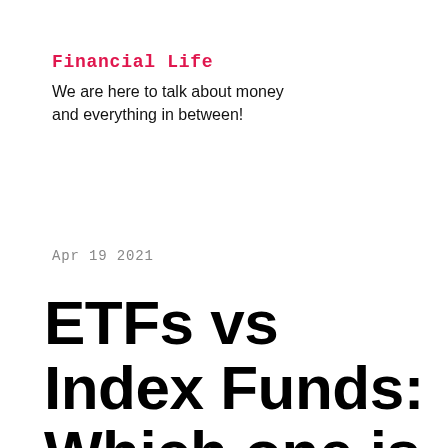Financial Life
We are here to talk about money and everything in between!
Apr 19 2021
ETFs vs Index Funds: Which one is best for